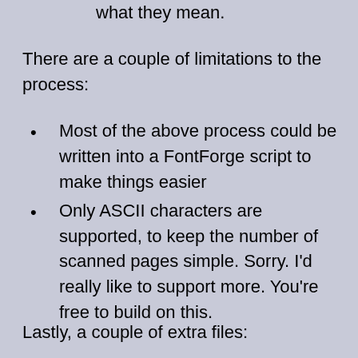what they mean.
There are a couple of limitations to the process:
Most of the above process could be written into a FontForge script to make things easier
Only ASCII characters are supported, to keep the number of scanned pages simple. Sorry. I’d really like to support more. You’re free to build on this.
Lastly, a couple of extra files: